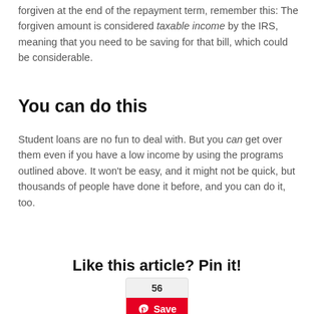forgiven at the end of the repayment term, remember this: The forgiven amount is considered taxable income by the IRS, meaning that you need to be saving for that bill, which could be considerable.
You can do this
Student loans are no fun to deal with. But you can get over them even if you have a low income by using the programs outlined above. It won't be easy, and it might not be quick, but thousands of people have done it before, and you can do it, too.
Like this article? Pin it!
[Figure (other): Pinterest Save button widget showing count 56 and red Save button with Pinterest logo]